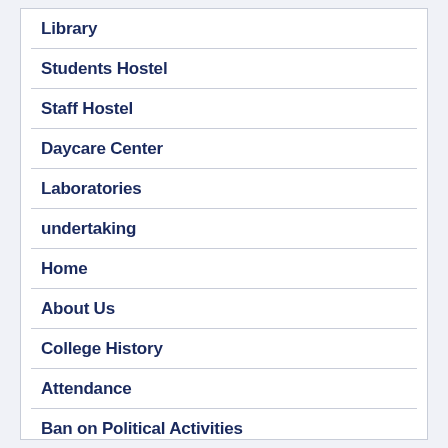Library
Students Hostel
Staff Hostel
Daycare Center
Laboratories
undertaking
Home
About Us
College History
Attendance
Ban on Political Activities